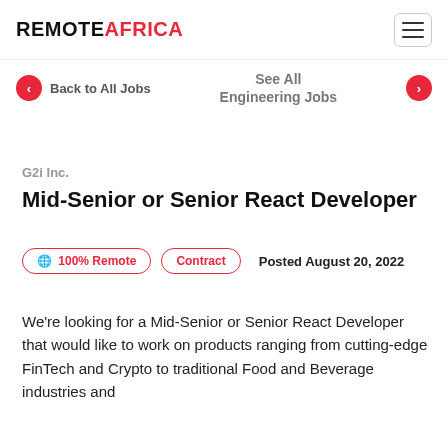REMOTEAFRICA
Back to All Jobs
See All Engineering Jobs
G2i Inc.
Mid-Senior or Senior React Developer
🌐 100% Remote   Contract   Posted August 20, 2022
We're looking for a Mid-Senior or Senior React Developer that would like to work on products ranging from cutting-edge FinTech and Crypto to traditional Food and Beverage industries and